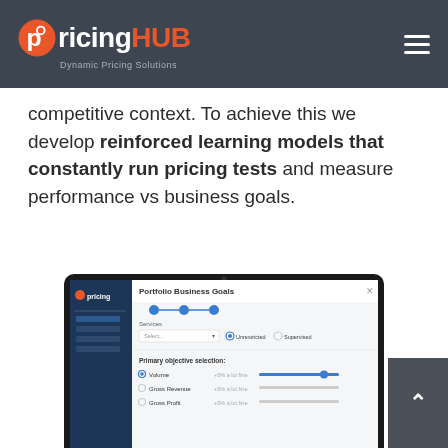pricingHUB — Dynamic Pricing Solutions
competitive context. To achieve this we develop reinforced learning models that constantly run pricing tests and measure performance vs business goals.
[Figure (screenshot): Screenshot of PricingHUB web application showing 'Portfolio Business Goals' configuration panel with navigation sidebar including Trading Management, Price Recommendations, Purchase Management, and Workspace Settings. The main panel shows step indicators, a Services dropdown, radio buttons for Unrestricted/Supervised, and Primary objective selectors including Revenue, Gross Revenue, and Gross Profit with sliders.]